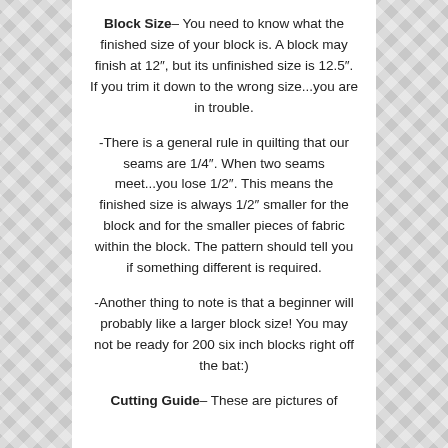Block Size– You need to know what the finished size of your block is. A block may finish at 12″, but its unfinished size is 12.5″. If you trim it down to the wrong size...you are in trouble.
-There is a general rule in quilting that our seams are 1/4″.  When two seams meet...you lose 1/2″. This means the finished size is always 1/2″ smaller for the block and for the smaller pieces of fabric within the block. The pattern should tell you if something different is required.
-Another thing to note is that a beginner will probably like a larger block size! You may not be ready for 200 six inch blocks right off the bat:)
Cutting Guide– These are pictures of